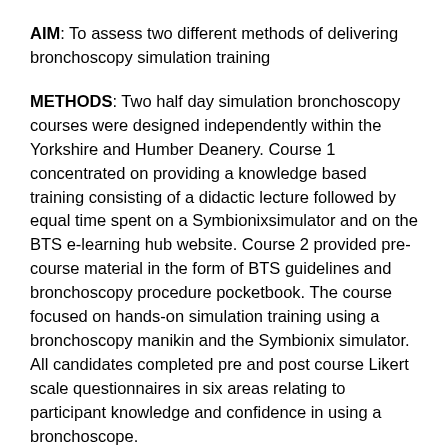AIM: To assess two different methods of delivering bronchoscopy simulation training
METHODS: Two half day simulation bronchoscopy courses were designed independently within the Yorkshire and Humber Deanery. Course 1 concentrated on providing a knowledge based training consisting of a didactic lecture followed by equal time spent on a Symbionixsimulator and on the BTS e-learning hub website. Course 2 provided pre-course material in the form of BTS guidelines and bronchoscopy procedure pocketbook. The course focused on hands-on simulation training using a bronchoscopy manikin and the Symbionix simulator. All candidates completed pre and post course Likert scale questionnaires in six areas relating to participant knowledge and confidence in using a bronchoscope.
RESULTS: Overall 30 trainees; 15 in each course were evaluated. Candidates had performed between 0 to >300 previous bronchoscopies and were from across the SpR years. Both courses delivered significant improvement in confidence across all of the six areas assessed. The